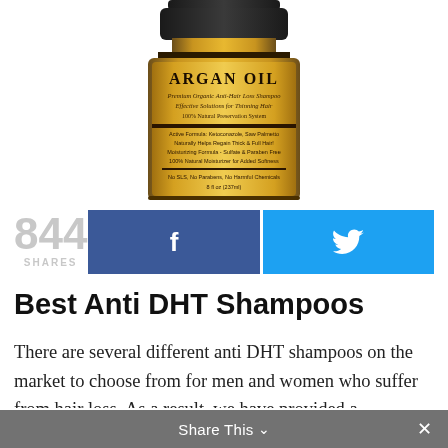[Figure (photo): Partial view of an Argan Oil anti-hair loss shampoo bottle with gold label. The label reads 'ARGAN OIL' prominently, with additional text about organic anti-hair loss shampoo for thinning hair and 100% natural preservation system. The bottle has a dark cap and golden body.]
844 SHARES
[Figure (infographic): Social share buttons: blue Facebook button with 'f' icon and cyan/blue Twitter button with bird icon]
Best Anti DHT Shampoos
There are several different anti DHT shampoos on the market to choose from for men and women who suffer from hair loss. As a result, we have provided a comprehensive review of some of the most popular DHT blocking shampoos on the market b...
Share This